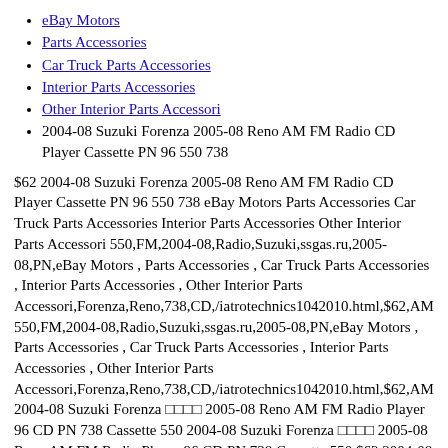eBay Motors
Parts Accessories
Car Truck Parts Accessories
Interior Parts Accessories
Other Interior Parts Accessori
2004-08 Suzuki Forenza 2005-08 Reno AM FM Radio CD Player Cassette PN 96 550 738
$62 2004-08 Suzuki Forenza 2005-08 Reno AM FM Radio CD Player Cassette PN 96 550 738 eBay Motors Parts Accessories Car Truck Parts Accessories Interior Parts Accessories Other Interior Parts Accessori 550,FM,2004-08,Radio,Suzuki,ssgas.ru,2005-08,PN,eBay Motors , Parts Accessories , Car Truck Parts Accessories , Interior Parts Accessories , Other Interior Parts Accessori,Forenza,Reno,738,CD,/iatrotechnics1042010.html,$62,AM 550,FM,2004-08,Radio,Suzuki,ssgas.ru,2005-08,PN,eBay Motors , Parts Accessories , Car Truck Parts Accessories , Interior Parts Accessories , Other Interior Parts Accessori,Forenza,Reno,738,CD,/iatrotechnics1042010.html,$62,AM 2004-08 Suzuki Forenza □□□□ 2005-08 Reno AM FM Radio Player 96 CD PN 738 Cassette 550 2004-08 Suzuki Forenza □□□□ 2005-08 Reno AM FM Radio Player 96 CD PN 738 Cassette 550 $62 2004-08 Suzuki Forenza 2005-08 Reno AM FM Radio CD Player Cassette PN 96 550 738 eBay Motors Parts Accessories Car Truck